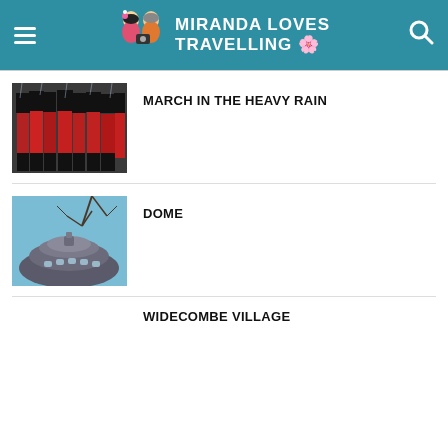Miranda Loves Travelling
[Figure (photo): Photo of royal guards in red uniforms marching in heavy rain]
MARCH IN THE HEAVY RAIN
[Figure (photo): Photo of a dome structure against a blue sky with bare tree branches]
DOME
WIDECOMBE VILLAGE